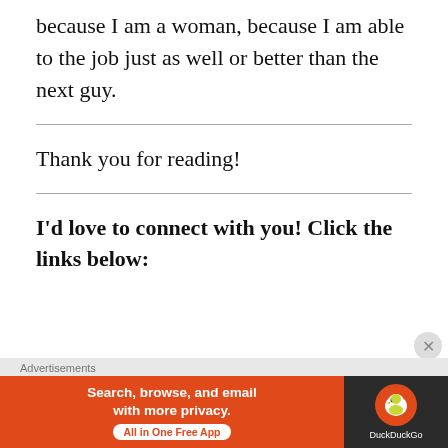because I am a woman, because I am able to the job just as well or better than the next guy.
Thank you for reading!
I'd love to connect with you! Click the links below:
[Figure (screenshot): DuckDuckGo advertisement banner with orange background on left reading 'Search, browse, and email with more privacy. All in One Free App' and dark right panel with DuckDuckGo logo]